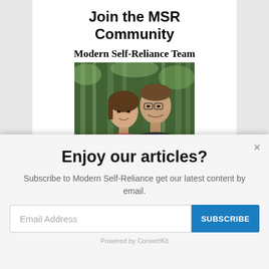Join the MSR Community
[Figure (photo): Modern Self-Reliance Team heading with a photo of two people (a man and a woman) smiling in a forested outdoor setting]
Enjoy our articles?
Subscribe to Modern Self-Reliance get our latest content by email.
Email Address
SUBSCRIBE
Powered by ConvertKit